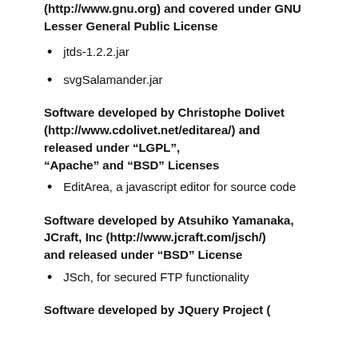(http://www.gnu.org) and covered under GNU Lesser General Public License
jtds-1.2.2.jar
svgSalamander.jar
Software developed by Christophe Dolivet (http://www.cdolivet.net/editarea/) and released under “LGPL”, “Apache” and “BSD” Licenses
EditArea, a javascript editor for source code
Software developed by Atsuhiko Yamanaka, JCraft, Inc (http://www.jcraft.com/jsch/) and released under “BSD” License
JSch, for secured FTP functionality
Software developed by JQuery Project (